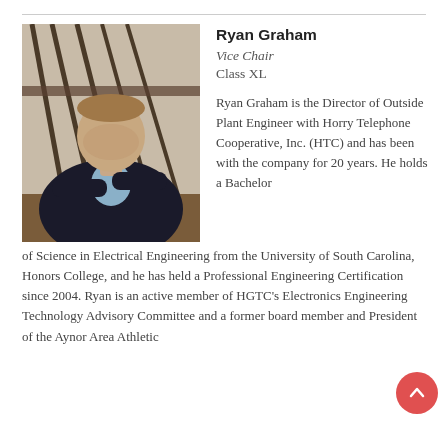[Figure (photo): Professional headshot of Ryan Graham, a middle-aged man in a dark suit with arms crossed, standing in front of a staircase with dark railings.]
Ryan Graham
Vice Chair
Class XL
Ryan Graham is the Director of Outside Plant Engineer with Horry Telephone Cooperative, Inc. (HTC) and has been with the company for 20 years. He holds a Bachelor of Science in Electrical Engineering from the University of South Carolina, Honors College, and he has held a Professional Engineering Certification since 2004. Ryan is an active member of HGTC's Electronics Engineering Technology Advisory Committee and a former board member and President of the Aynor Area Athletic